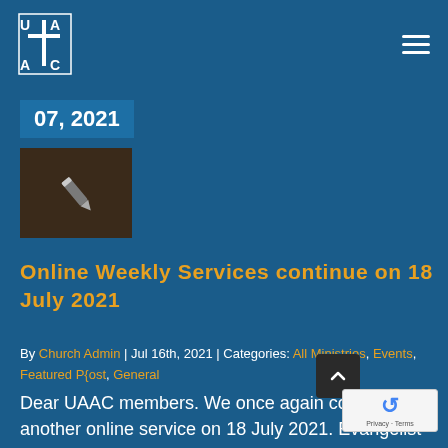UAAC church website header with logo and hamburger menu
07, 2021
[Figure (illustration): Thumbnail image with dark brown background and a pencil/edit icon in white]
Online Weekly Services continue on 18 July 2021
By Church Admin | Jul 16th, 2021 | Categories: All Ministries, Events, Featured P{ost, General
Dear UAAC members. We once again conduct another online service on 18 July 2021. Evangelist Mukundisi Musa[...] delivers a sermon under the